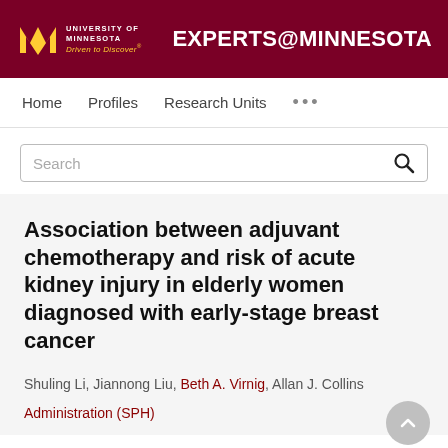University of Minnesota — Driven to Discover® | EXPERTS@MINNESOTA
Home   Profiles   Research Units   ...
Search
Association between adjuvant chemotherapy and risk of acute kidney injury in elderly women diagnosed with early-stage breast cancer
Shuling Li, Jiannong Liu, Beth A. Virnig, Allan J. Collins
Administration (SPH)